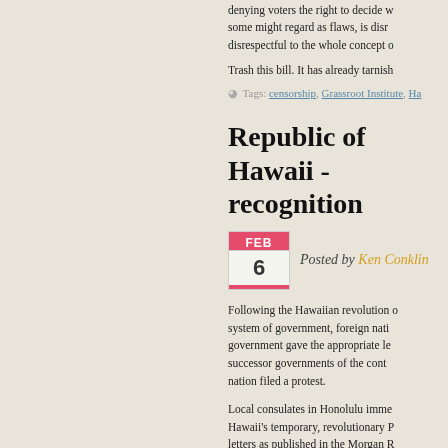denying voters the right to decide w... some might regard as flaws, is disr... disrespectful to the whole concept o...
Trash this bill. It has already tarnish...
Tags: censorship, Grassroot Institute, Ha...
Republic of Hawaii - recognition
Posted by Ken Conklin
Following the Hawaiian revolution o... system of government, foreign nati... government gave the appropriate le... successor governments of the cont... nation filed a protest.
Local consulates in Honolulu imme... Hawaii's temporary, revolutionary P... letters as published in the Morgan R... Committee on Foreign Relations) a... http://morganreport.org/mediawiki/... title=DIPLOMATIC_RECOGNITION
Then in July 1894, after a permane...